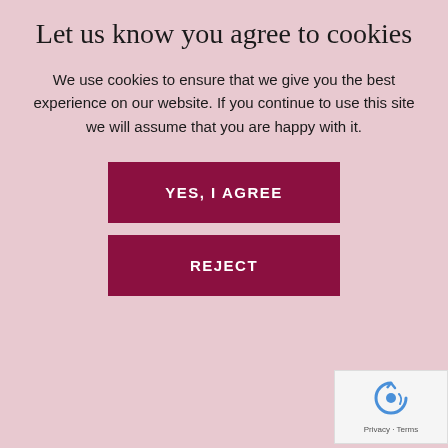Let us know you agree to cookies
We use cookies to ensure that we give you the best experience on our website. If you continue to use this site we will assume that you are happy with it.
YES, I AGREE
REJECT
Last Name*
Email*
SUBMIT
[Figure (other): reCAPTCHA badge with Privacy and Terms text]